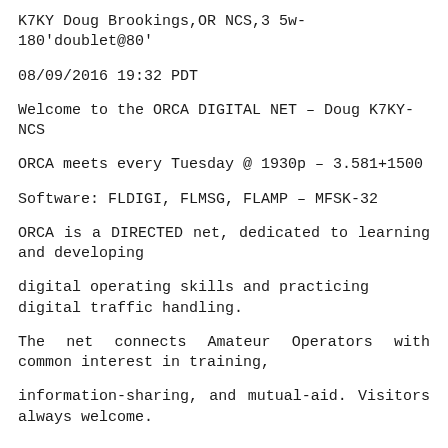K7KY Doug Brookings,OR NCS,3 5w-180'doublet@80'
08/09/2016 19:32 PDT
Welcome to the ORCA DIGITAL NET – Doug K7KY-NCS
ORCA meets every Tuesday @ 1930p – 3.581+1500
Software: FLDIGI, FLMSG, FLAMP – MFSK-32
ORCA is a DIRECTED net, dedicated to learning and developing
digital operating skills and practicing digital traffic handling.
The net connects Amateur Operators with common interest in training,
information-sharing, and mutual-aid. Visitors always welcome.